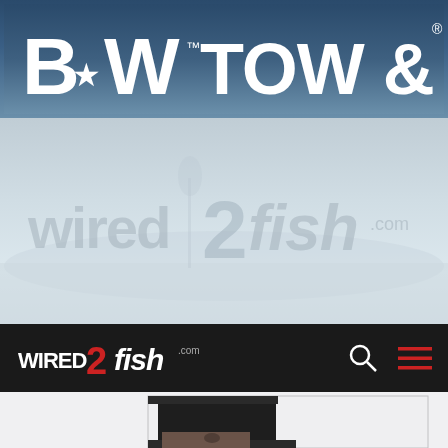[Figure (logo): B★W TOW & STOW logo banner with dark blue gradient background and white bold text]
[Figure (logo): Wired2fish.com hero banner with misty lake background and large watermark logo overlay]
[Figure (screenshot): Wired2fish.com website navigation bar with logo, search icon, and hamburger menu on black background]
[Figure (photo): Partial photo of a person wearing a tall black hat, cropped at the bottom of the page]